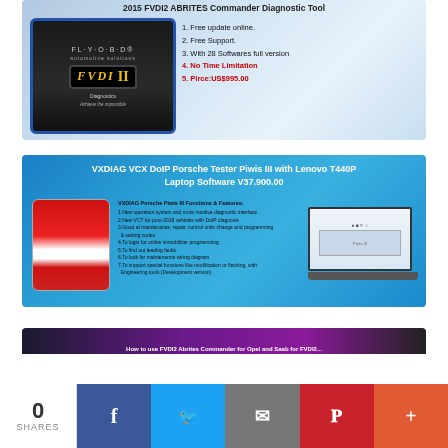[Figure (photo): Product banner for 2015 FVDI2 ABRITES Commander Diagnostic Tool showing the FVDI II device with features: 1. Free update online. 2. Free Support. 3. With 28 Softwares full version. 4. No Time Limitation (red). 5. Price: US$995.00 (red).]
[Figure (photo): Product banner for VXDIAG VCX DoIP Porsche Tester Piwis III with Lenovo T440P Laptop Software V37.900.00. Shows red/white diagnostic device and laptop. Lists 7 features including new operation system, new VCT for post-2018 vehicles with DoIP diagnosis, maintenance/repair capabilities, online immobilizer programming, leading faults detection, maintenance wiring diagram, and special functions like modification/flashing with Engineering tools.]
[Figure (photo): Partially visible third product banner with purple/dark gradient background.]
0 SHARES | Facebook | Twitter | Email | Pinterest | More